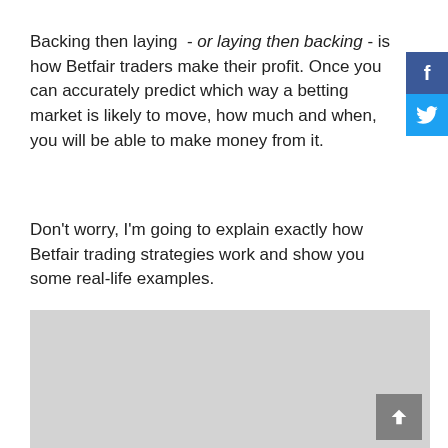Backing then laying  - or laying then backing - is how Betfair traders make their profit. Once you can accurately predict which way a betting market is likely to move, how much and when, you will be able to make money from it.
Don't worry, I'm going to explain exactly how Betfair trading strategies work and show you some real-life examples.
[Figure (other): Grey placeholder image box at the bottom of the page with a scroll-to-top button in the bottom right corner]